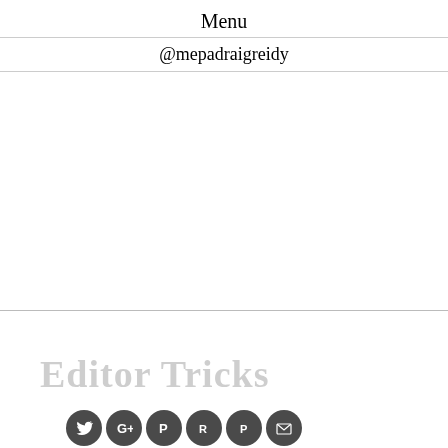Menu
@mepadraigreidy
[Figure (screenshot): Cookie Control popup dialog with dark background showing: orange gear/cookie icon with 'C', title 'Cookie Control', close X button, body text 'This site uses cookies to store information on your computer.', an orange 'About this tool' button, and a 'read more' link at the bottom left.]
[Figure (screenshot): Bottom of webpage showing 'Editor Tricks' watermark text in gray and a row of social media icon circles (Twitter, Google+, Pinterest, Reddit, Pocket, Email) in dark gray.]